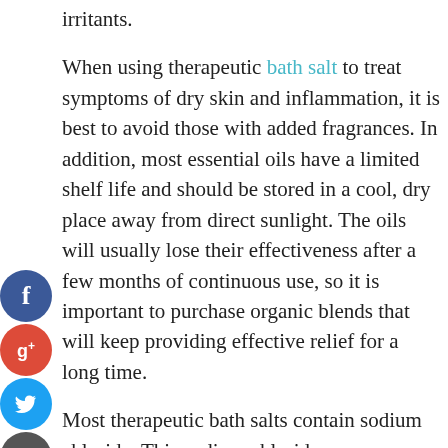irritants.
When using therapeutic bath salt to treat symptoms of dry skin and inflammation, it is best to avoid those with added fragrances. In addition, most essential oils have a limited shelf life and should be stored in a cool, dry place away from direct sunlight. The oils will usually lose their effectiveness after a few months of continuous use, so it is important to purchase organic blends that will keep providing effective relief for a long time.
Most therapeutic bath salts contain sodium chloride. This sodium chloride can come from natural sources or be added during the process of production. Synthetic compounds such as sodium chloride are often added to enhance the product's cleansing qualities. Sodium chloride is one of the most common ingredients in conventional table